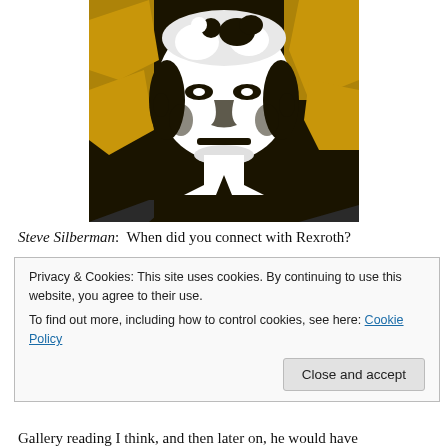[Figure (illustration): A high-contrast pop-art style portrait of a man with white/grey hair against a black and gold/yellow background, showing his face and upper torso.]
Steve Silberman:  When did you connect with Rexroth?
Privacy & Cookies: This site uses cookies. By continuing to use this website, you agree to their use.
To find out more, including how to control cookies, see here: Cookie Policy
[Close and accept]
Gallery reading I think, and then later on, he would have